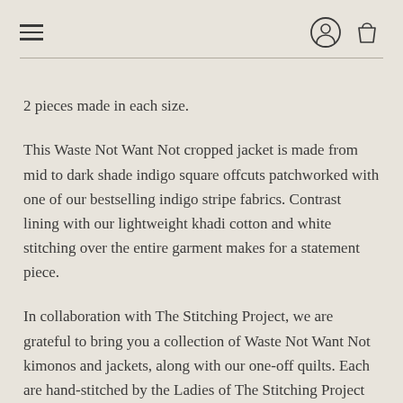≡ [hamburger menu] [user icon] [bag icon]
2 pieces made in each size.
This Waste Not Want Not cropped jacket is made from mid to dark shade indigo square offcuts patchworked with one of our bestselling indigo stripe fabrics. Contrast lining with our lightweight khadi cotton and white stitching over the entire garment makes for a statement piece.
In collaboration with The Stitching Project, we are grateful to bring you a collection of Waste Not Want Not kimonos and jackets, along with our one-off quilts. Each are hand-stitched by the Ladies of The Stitching Project using offcuts of our previous and current collections, repurposing them and creating employment for the team during this increasingly